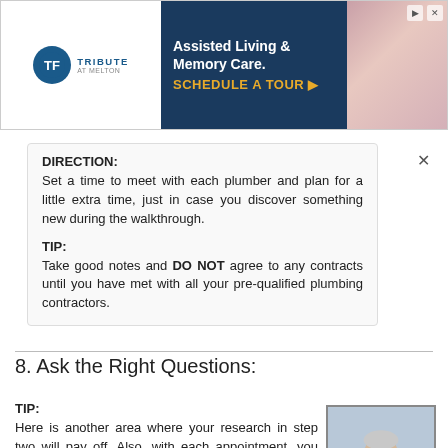[Figure (infographic): Advertisement banner for Tribute at Mellon assisted living and memory care facility with logo, dark navy background with text 'Assisted Living & Memory Care. SCHEDULE A TOUR ▶', and a photo of elderly people.]
DIRECTION:
Set a time to meet with each plumber and plan for a little extra time, just in case you discover something new during the walkthrough.
TIP:
Take good notes and DO NOT agree to any contracts until you have met with all your pre-qualified plumbing contractors.
8. Ask the Right Questions:
TIP:
Here is another area where your research in step two will pay off. Also, with each appointment, you will learn more about your specific situation. As you ask each question, listen very carefully and take
[Figure (photo): Photo of a middle-aged man with grey hair, wearing a light blue shirt, arms crossed, smiling outdoors.]